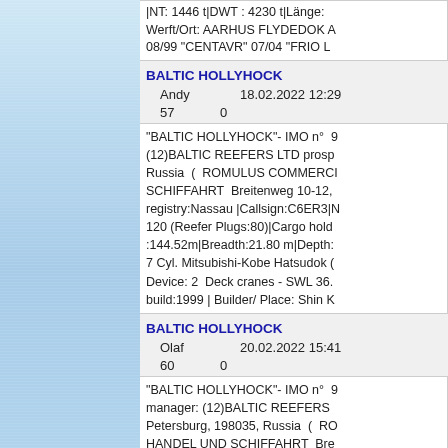|NT: 1446 t|DWT : 4230 t|Länge: Werft/Ort: AARHUS FLYDEDOK A 08/99 "CENTAVR" 07/04 "FRIO L
BALTIC HOLLYHOCK
Andy    18.02.2022 12:29
57    0
"BALTIC HOLLYHOCK"- IMO n° 9 (12)BALTIC REEFERS LTD prosp Russia ( ROMULUS COMMERCI SCHIFFAHRT Breitenweg 10-12, registry:Nassau |Callsign:C6ER3|N 120 (Reefer Plugs:80)|Cargo hold :144.52m|Breadth:21.80 m|Depth: 7 Cyl. Mitsubishi-Kobe Hatsudok ( Device: 2 Deck cranes - SWL 36. build:1999 | Builder/ Place: Shin K
BALTIC HOLLYHOCK
Olaf    20.02.2022 15:41
60    0
"BALTIC HOLLYHOCK"- IMO n° 9 manager: (12)BALTIC REEFERS Petersburg, 198035, Russia ( RO HANDEL UND SCHIFFAHRT Bre Germany|Flag:Bahamas|Port of re 5349 |GT:9649| DWT:11788|Teu: 1 insulated|Length oa :144.52m|Bre mm| Main Engine: 7 Cyl. Mitsubis rpm/20.2 knm| Lifting Device: 2 D 8.0 to each|Year of build:1999 | B